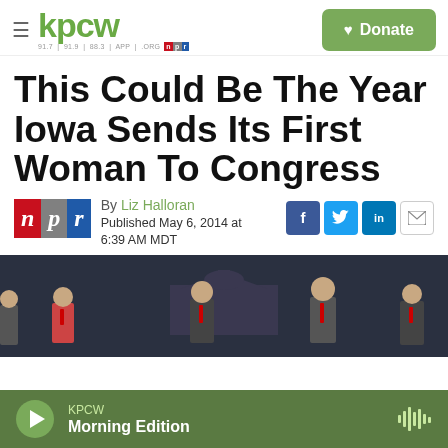KPCW | 91.7 | 91.9 | 88.3 | APP | .ORG | NPR | Donate
This Could Be The Year Iowa Sends Its First Woman To Congress
By Liz Halloran
Published May 6, 2014 at 6:39 AM MDT
[Figure (photo): Group of political candidates standing in front of the US Capitol building for a debate or official photo]
KPCW Morning Edition